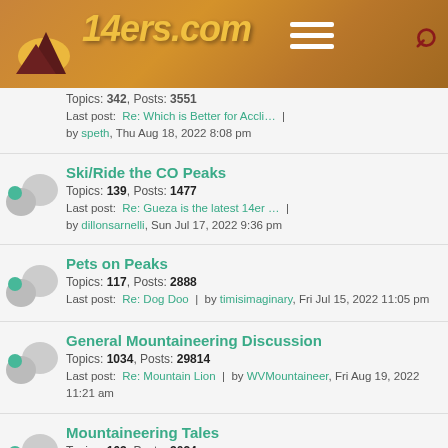14ers.com
Topics: 342, Posts: 3551 | Last post: Re: Which is Better for Accli... | by speth, Thu Aug 18, 2022 8:08 pm
Ski/Ride the CO Peaks | Topics: 139, Posts: 1477 | Last post: Re: Gueza is the latest 14er ... | by dillonsarnelli, Sun Jul 17, 2022 9:36 pm
Pets on Peaks | Topics: 117, Posts: 2888 | Last post: Re: Dog Doo | by timisimaginary, Fri Jul 15, 2022 11:05 pm
General Mountaineering Discussion | Topics: 1034, Posts: 29814 | Last post: Re: Mountain Lion | by WVMountaineer, Fri Aug 19, 2022 11:21 am
Mountaineering Tales | Topics: 163, Posts: 3024 | Last post: Re: I finished all the 14ers ... | by daway8, Sat Aug 13, 2022 9:34 pm